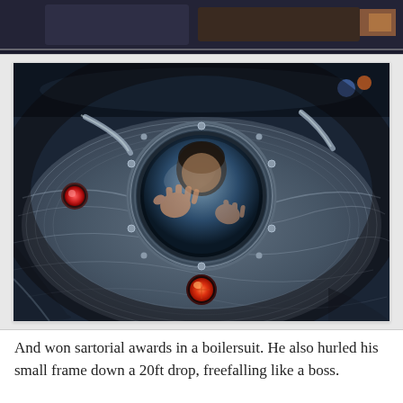[Figure (photo): Top strip showing a partial photo of what appears to be an indoor scene with dark tones]
[Figure (photo): A child visible through a circular porthole/window of a metallic-looking ride or machine, pressing hands against the glass. The machine has rivets, metallic surfaces, and two red indicator lights. The image has a vintage/Instagram filter applied.]
And won sartorial awards in a boilersuit. He also hurled his small frame down a 20ft drop, freefalling like a boss.